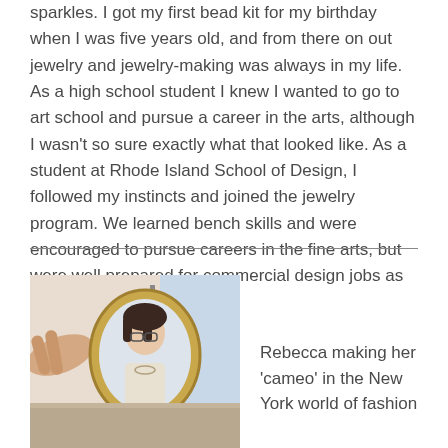sparkles. I got my first bead kit for my birthday when I was five years old, and from there on out jewelry and jewelry-making was always in my life. As a high school student I knew I wanted to go to art school and pursue a career in the arts, although I wasn't so sure exactly what that looked like. As a student at Rhode Island School of Design, I followed my instincts and joined the jewelry program. We learned bench skills and were encouraged to pursue careers in the fine arts, but were well prepared for commercial design jobs as well.
[Figure (photo): A person holding up a small oval mirror showing the reflection of a woman with glasses and dark hair wearing a light cardigan, in an indoor setting.]
Rebecca making her 'cameo' in the New York world of fashion